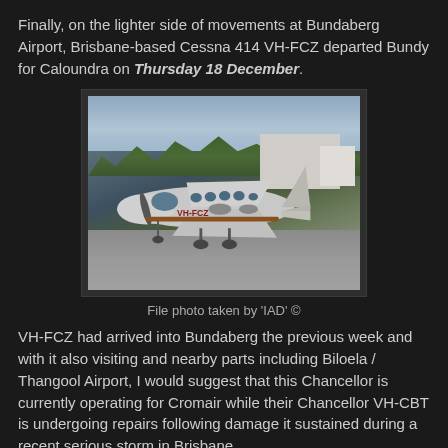Finally, on the lighter side of movements at Bundaberg Airport, Brisbane-based Cessna 414 VH-FCZ departed Bundy for Caloundra on Thursday 18 December.
[Figure (photo): Cessna 414 Chancellor VH-FCZ on airport tarmac, with trees and a hangar building in the background. Aircraft registration VH-FCZ visible on tail.]
File photo taken by 'IAD'  ©
VH-FCZ had arrived into Bundaberg the previous week and with it also visiting and nearby parts including Biloela / Thangool Airport, I would suggest that this Chancellor is currently operating for Cromair while their Chancellor VH-CBT is undergoing repairs following damage it sustained during a recent serious storm in Brisbane.